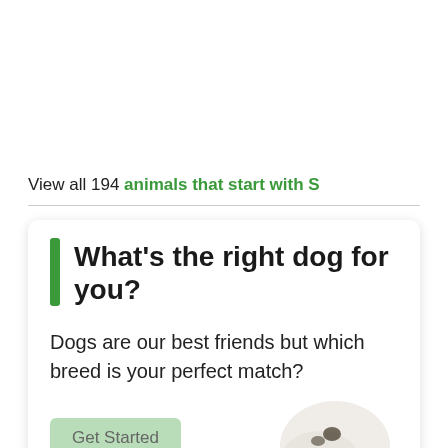View all 194 animals that start with S
What's the right dog for you?
Dogs are our best friends but which breed is your perfect match?
[Figure (photo): Partial photo of a white dog paw/snout at the bottom right of the card]
Get Started